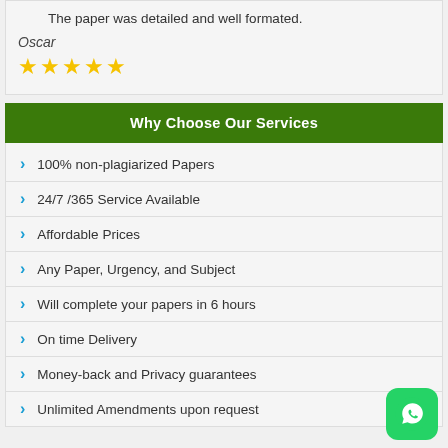The paper was detailed and well formated.
Oscar
★★★★★
Why Choose Our Services
100% non-plagiarized Papers
24/7 /365 Service Available
Affordable Prices
Any Paper, Urgency, and Subject
Will complete your papers in 6 hours
On time Delivery
Money-back and Privacy guarantees
Unlimited Amendments upon request